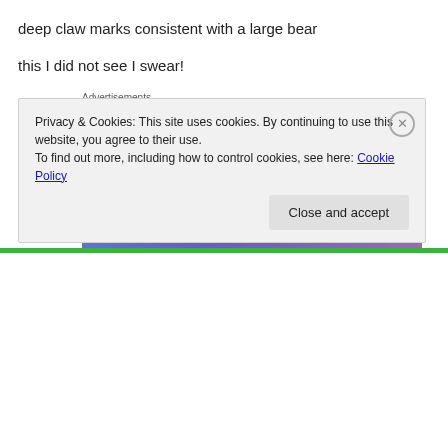deep claw marks consistent with a large bear
this I did not see I swear!
Advertisements
[Figure (illustration): Advertisement banner: gradient blue-purple background with white bold text 'Simplified pricing for everything you need.' and a pink 'Build Your Website' button, with a price tag illustration on the right.]
Privacy & Cookies: This site uses cookies. By continuing to use this website, you agree to their use.
To find out more, including how to control cookies, see here: Cookie Policy
Close and accept